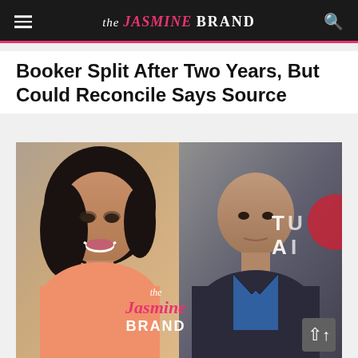the JASMINE BRAND
Booker Split After Two Years, But Could Reconcile Says Source
[Figure (photo): Side-by-side composite photo of a woman (Rosario Dawson) on the left smiling, wearing a peach/coral top, with long dark wavy hair, and a bald man (Cory Booker) on the right wearing a dark suit and blue shirt, in front of a gray backdrop. The Jasmine Brand watermark is overlaid on the center of the image.]